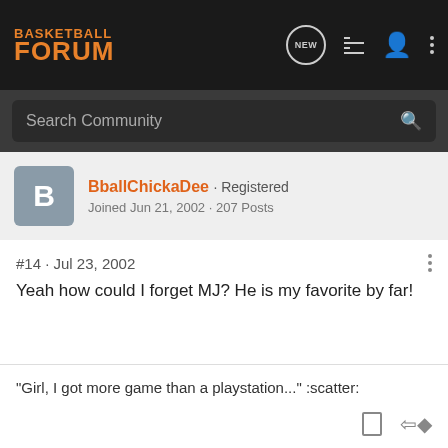[Figure (logo): Basketball Forum logo with orange text on dark background nav bar with icons for NEW, list, user, and dots menu]
Search Community
BballChickaDee · Registered
Joined Jun 21, 2002 · 207 Posts
#14 · Jul 23, 2002
Yeah how could I forget MJ? He is my favorite by far!
"Girl, I got more game than a playstation..." :scatter: